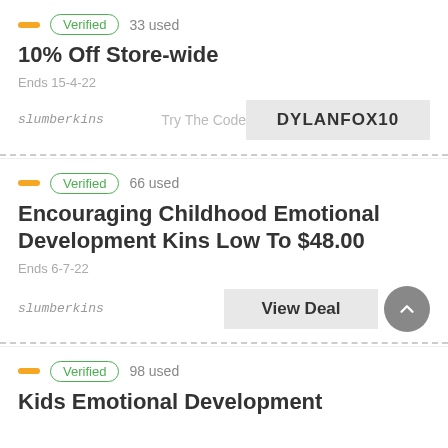Verified · 33 used
10% Off Store-wide
Ends 15-4-22
slumberkins · Try The Code: DYLANFOX10
Verified · 66 used
Encouraging Childhood Emotional Development Kins Low To $48.00
Ends 6-7-22
slumberkins · View Deal
Verified · 98 used
Kids Emotional Development